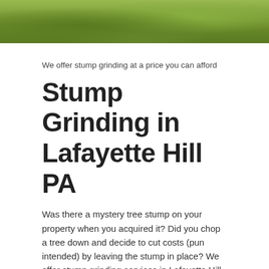[Figure (photo): Close-up photo of green foliage/leaves at the top of the page]
We offer stump grinding at a price you can afford
Stump Grinding in Lafayette Hill PA
Was there a mystery tree stump on your property when you acquired it? Did you chop a tree down and decide to cut costs (pun intended) by leaving the stump in place? We offer stump grinding services in Lafayette Hill PA to grind away and remove any stump at a price you can afford.
But tree stumps and above-ground roots aren't just an